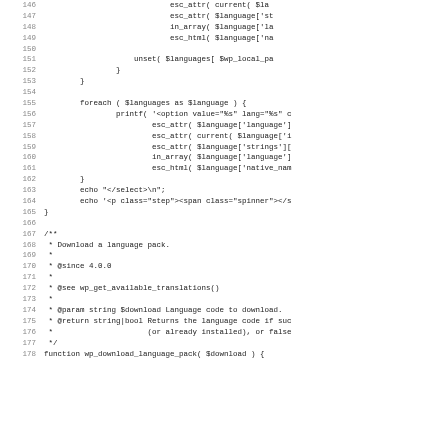[Figure (screenshot): Source code listing showing PHP code lines 146-178, including a foreach loop over $languages, printf statements, echo statements, closing braces, and a PHPDoc comment block for a function named wp_download_language_pack.]